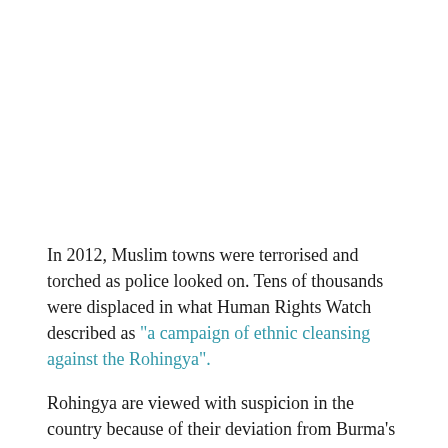In 2012, Muslim towns were terrorised and torched as police looked on. Tens of thousands were displaced in what Human Rights Watch described as "a campaign of ethnic cleansing against the Rohingya".
Rohingya are viewed with suspicion in the country because of their deviation from Burma's deeply observed Buddhist traditions, and are